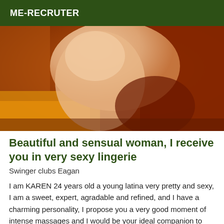ME-RECRUTER
[Figure (photo): Close-up photo of a woman's body in warm orange and red tones, partial view]
Beautiful and sensual woman, I receive you in very sexy lingerie
Swinger clubs Eagan
I am KAREN 24 years old a young latina very pretty and sexy, I am a sweet, expert, agradable and refined, and I have a charming personality, I propose you a very good moment of intense massages and I would be your ideal companion to spend an unforgettable moment. I am a